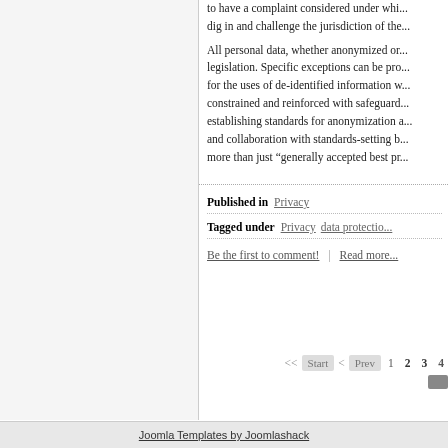to have a complaint considered under whi... dig in and challenge the jurisdiction of the...
All personal data, whether anonymized or... legislation. Specific exceptions can be pro... for the uses of de-identified information w... constrained and reinforced with safeguard... establishing standards for anonymization a... and collaboration with standards-setting b... more than just “generally accepted best pr...
Published in  Privacy
Tagged under   Privacy  data protectio...
Be the first to comment!  |  Read more...
<< Start < Prev  1  2  3  4
Joomla Templates by Joomlashack